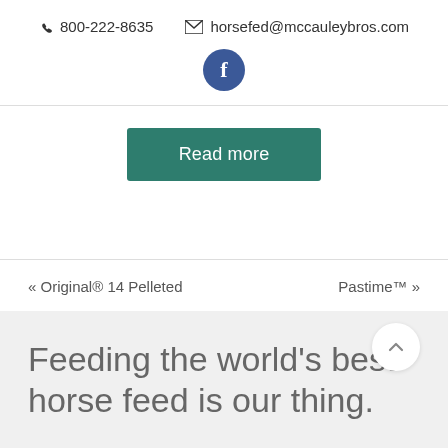📞 800-222-8635   ✉ horsefed@mccauleybros.com
[Figure (logo): Facebook circular button icon, dark blue circle with white 'f' letter]
Read more
« Original® 14 Pelleted
Pastime™ »
Feeding the world's best horse feed is our thing.